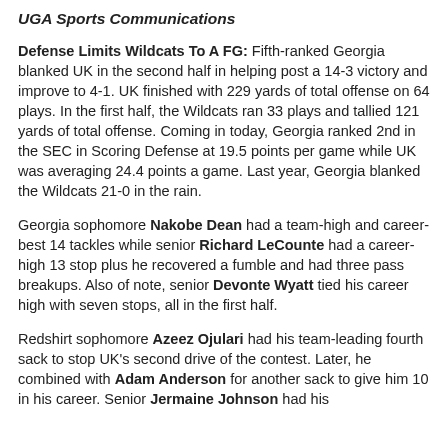UGA Sports Communications
Defense Limits Wildcats To A FG: Fifth-ranked Georgia blanked UK in the second half in helping post a 14-3 victory and improve to 4-1. UK finished with 229 yards of total offense on 64 plays. In the first half, the Wildcats ran 33 plays and tallied 121 yards of total offense. Coming in today, Georgia ranked 2nd in the SEC in Scoring Defense at 19.5 points per game while UK was averaging 24.4 points a game. Last year, Georgia blanked the Wildcats 21-0 in the rain.
Georgia sophomore Nakobe Dean had a team-high and career-best 14 tackles while senior Richard LeCounte had a career-high 13 stop plus he recovered a fumble and had three pass breakups. Also of note, senior Devonte Wyatt tied his career high with seven stops, all in the first half.
Redshirt sophomore Azeez Ojulari had his team-leading fourth sack to stop UK's second drive of the contest. Later, he combined with Adam Anderson for another sack to give him 10 in his career. Senior Jermaine Johnson had his